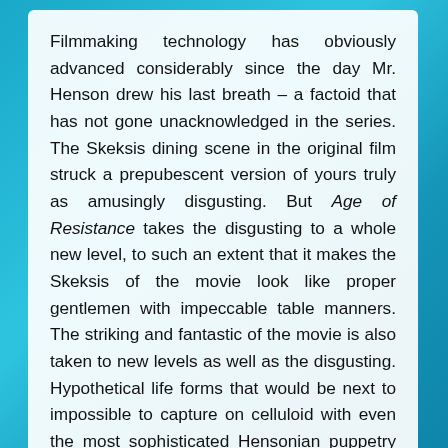Filmmaking technology has obviously advanced considerably since the day Mr. Henson drew his last breath – a factoid that has not gone unacknowledged in the series. The Skeksis dining scene in the original film struck a prepubescent version of yours truly as amusingly disgusting. But Age of Resistance takes the disgusting to a whole new level, to such an extent that it makes the Skeksis of the movie look like proper gentlemen with impeccable table manners. The striking and fantastic of the movie is also taken to new levels as well as the disgusting. Hypothetical life forms that would be next to impossible to capture on celluloid with even the most sophisticated Hensonian puppetry are very possible with 3-D modelling software. We see quite a few digitally rendered creations in the series. Impressive ones,